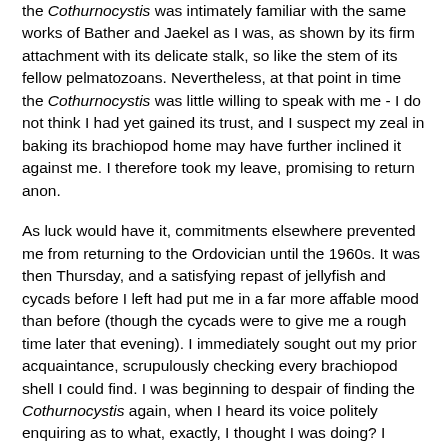the Cothurnocystis was intimately familiar with the same works of Bather and Jaekel as I was, as shown by its firm attachment with its delicate stalk, so like the stem of its fellow pelmatozoans. Nevertheless, at that point in time the Cothurnocystis was little willing to speak with me - I do not think I had yet gained its trust, and I suspect my zeal in baking its brachiopod home may have further inclined it against me. I therefore took my leave, promising to return anon.
As luck would have it, commitments elsewhere prevented me from returning to the Ordovician until the 1960s. It was then Thursday, and a satisfying repast of jellyfish and cycads before I left had put me in a far more affable mood than before (though the cycads were to give me a rough time later that evening). I immediately sought out my prior acquaintance, scrupulously checking every brachiopod shell I could find. I was beginning to despair of finding the Cothurnocystis again, when I heard its voice politely enquiring as to what, exactly, I thought I was doing? I sought out the source of this speech and discovered the Cothurnocystis no longer affixed to any brachiopod but lying